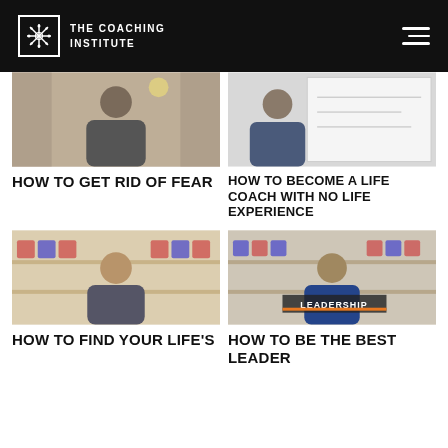The Coaching Institute
[Figure (photo): Man standing in a room with plants and decorative background]
[Figure (photo): Man standing in front of a whiteboard with writing]
HOW TO GET RID OF FEAR
HOW TO BECOME A LIFE COACH WITH NO LIFE EXPERIENCE
[Figure (photo): Smiling man in a room with shelves of gift boxes]
[Figure (photo): Man in a room with shelves, text overlay reading LEADERSHIP]
HOW TO FIND YOUR LIFE'S
HOW TO BE THE BEST LEADER